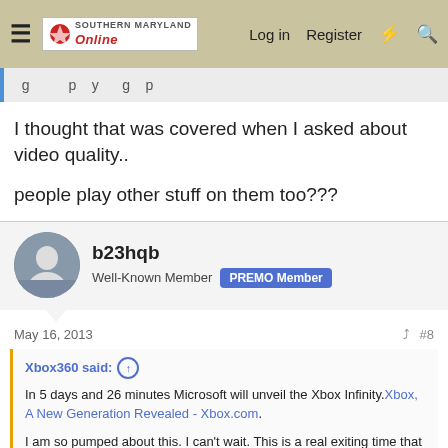Southern Maryland Online — Log in Register
I thought that was covered when I asked about video quality..

people play other stuff on them too???
b23hqb
Well-Known Member PREMO Member
May 16, 2013 #8
Xbox360 said:
In 5 days and 26 minutes Microsoft will unveil the Xbox Infinity.Xbox, A New Generation Revealed - Xbox.com.

I am so pumped about this. I can't wait. This is a real exiting time that we are living in.